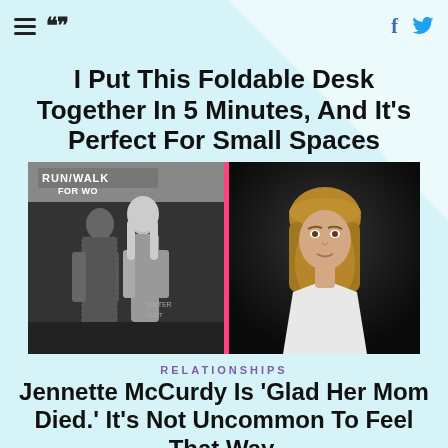HuffPost navigation with hamburger menu, logo, Facebook and Twitter icons
I Put This Foldable Desk Together In 5 Minutes, And It's Perfect For Small Spaces
[Figure (photo): Split composite photo: left side black-and-white image of two women at a Run/Walk For Women event; right side color photo of a young woman with long blonde hair wearing a white blouse, against a dark background. Photos separated by a pink vertical divider.]
RELATIONSHIPS
Jennette McCurdy Is 'Glad Her Mom Died.' It's Not Uncommon To Feel That Way.